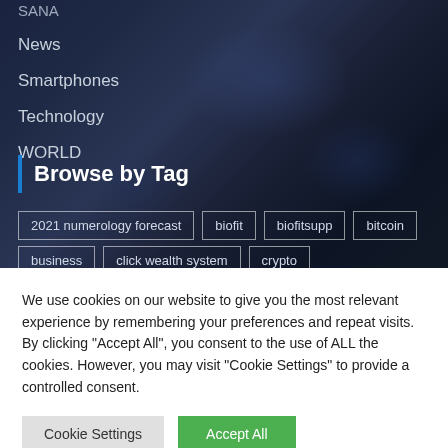SANA
News
Smartphones
Technology
WORLD
Browse by Tag
2021 numerology forecast
biofit
biofitsupp
bitcoin
business
click wealth system
crypto
We use cookies on our website to give you the most relevant experience by remembering your preferences and repeat visits. By clicking "Accept All", you consent to the use of ALL the cookies. However, you may visit "Cookie Settings" to provide a controlled consent.
Cookie Settings
Accept All